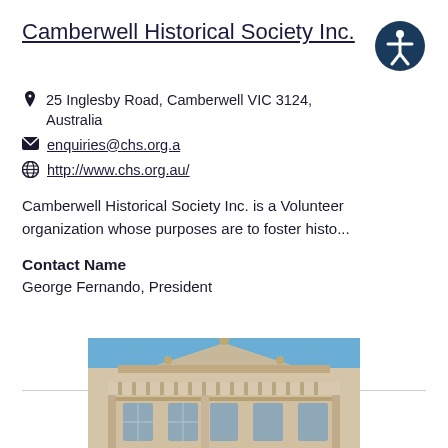Camberwell Historical Society Inc.
25 Inglesby Road, Camberwell VIC 3124, Australia
enquiries@chs.org.a
http://www.chs.org.au/
Camberwell Historical Society Inc. is a Volunteer organization whose purposes are to foster histo...
Contact Name
George Fernando, President
[Figure (photo): Photograph of a historic building facade with ornate classical architecture, white/cream stonework, balustrade, and blue sky background.]